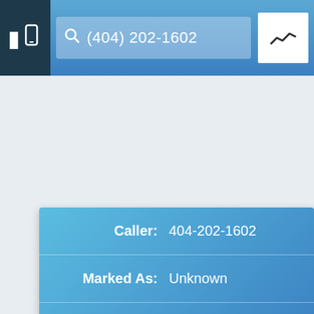[Figure (screenshot): Mobile app top navigation bar with phone icon button on left, search bar showing '(404) 202-1602', and chart/analytics button on right]
| Caller: | 404-202-1602 |
| Marked As: | Unknown |
| Owner: | Unknown |